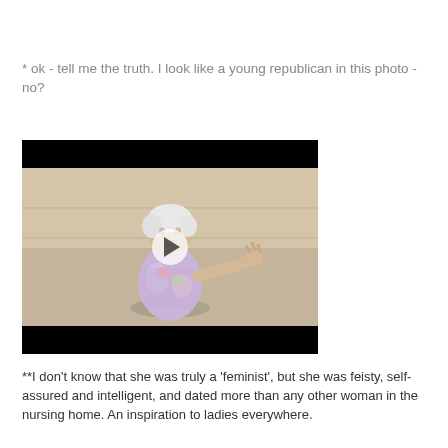* ok - tell me the truth. I look like a young republican in this photo - no?
[Figure (photo): Embedded video player showing an elderly woman with white hair in a colorful sweater, appearing to gesture with her hand, seated outdoors. Black letterbox bars top and bottom. White play button triangle in center.]
**I don't know that she was truly a 'feminist', but she was feisty, self-assured and intelligent, and dated more than any other woman in the nursing home. An inspiration to ladies everywhere.